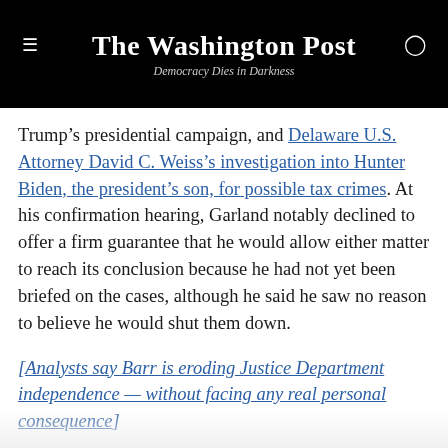The Washington Post — Democracy Dies in Darkness
Trump's presidential campaign, and Delaware U.S. Attorney David C. Weiss's investigation into Hunter Biden, the president's son, for possible tax crimes. At his confirmation hearing, Garland notably declined to offer a firm guarantee that he would allow either matter to reach its conclusion because he had not yet been briefed on the cases, although he said he saw no reason to believe he would shut them down.
[Analysts say Barr is eroding Justice Department independence — without facing any real personal consequence]